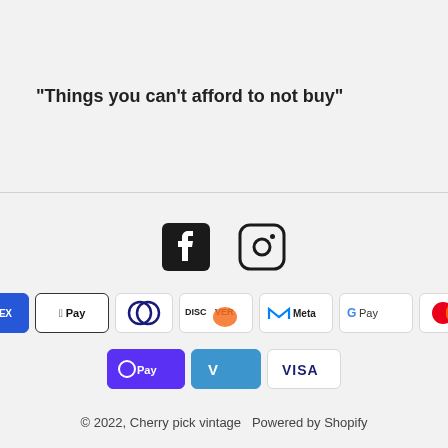"Things you can't afford to not buy"
[Figure (logo): Facebook and Instagram social media icons]
[Figure (infographic): Payment method badges: Amazon Pay, American Express, Apple Pay, Diners Club, Discover, Meta Pay, Google Pay, Mastercard, PayPal, Shop Pay, Venmo, Visa]
© 2022, Cherry pick vintage  Powered by Shopify